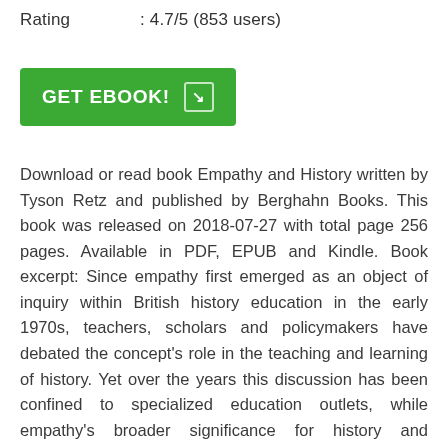Rating : 4.7/5 (853 users)
[Figure (other): Green 'GET EBOOK!' button with arrow icon]
Download or read book Empathy and History written by Tyson Retz and published by Berghahn Books. This book was released on 2018-07-27 with total page 256 pages. Available in PDF, EPUB and Kindle. Book excerpt: Since empathy first emerged as an object of inquiry within British history education in the early 1970s, teachers, scholars and policymakers have debated the concept's role in the teaching and learning of history. Yet over the years this discussion has been confined to specialized education outlets, while empathy's broader significance for history and philosophy has too often gone